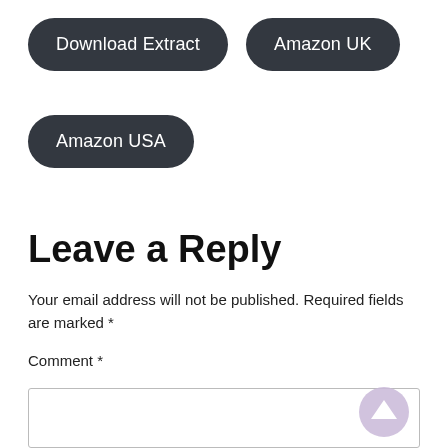[Figure (screenshot): Two dark rounded pill-shaped buttons: 'Download Extract' and 'Amazon UK' in the first row, and 'Amazon USA' in the second row]
Leave a Reply
Your email address will not be published. Required fields are marked *
Comment *
[Figure (screenshot): Empty comment textarea with a light purple scroll-up arrow button in the bottom right corner]